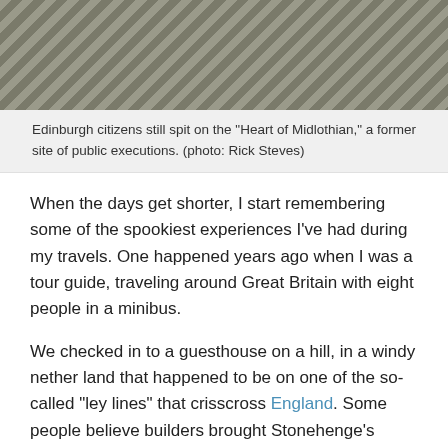[Figure (photo): Close-up photo of cobblestones or stone pavement, showing rough grey stone tiles arranged in a pattern. The Heart of Midlothian cobblestone pattern in Edinburgh.]
Edinburgh citizens still spit on the "Heart of Midlothian," a former site of public executions. (photo: Rick Steves)
When the days get shorter, I start remembering some of the spookiest experiences I've had during my travels. One happened years ago when I was a tour guide, traveling around Great Britain with eight people in a minibus.
We checked in to a guesthouse on a hill, in a windy nether land that happened to be on one of the so-called "ley lines" that crisscross England. Some people believe builders brought Stonehenge's enormous stones to the site by using mystical energy along these straight lines, which supposedly connect ancient landmarks like hilltops, stone circles, and cairns. I don't know if we were picking up that energy, but within five minutes of checking into our rooms, a feeling of doom came upon every one of us, and we were all out in the hallway again. Like a bunch of cartoon characters, we all grabbed our bags, loaded up the